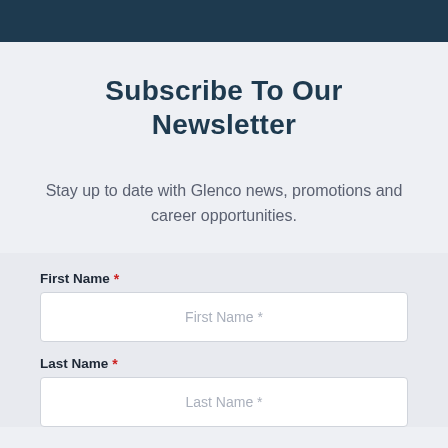Subscribe To Our Newsletter
Stay up to date with Glenco news, promotions and career opportunities.
First Name *
First Name *
Last Name *
Last Name *